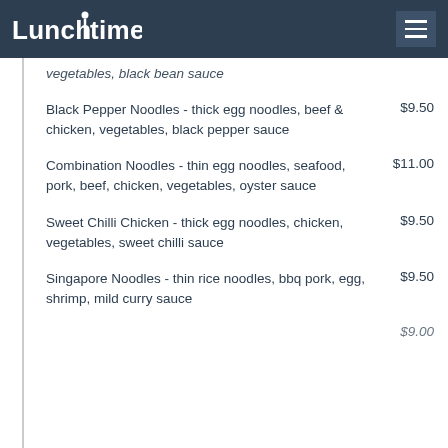Lunchtime
vegetables, black bean sauce (partial/cut off top)
Black Pepper Noodles - thick egg noodles, beef & chicken, vegetables, black pepper sauce   $9.50
Combination Noodles - thin egg noodles, seafood, pork, beef, chicken, vegetables, oyster sauce   $11.00
Sweet Chilli Chicken - thick egg noodles, chicken, vegetables, sweet chilli sauce   $9.50
Singapore Noodles - thin rice noodles, bbq pork, egg, shrimp, mild curry sauce   $9.50
... (partial/cut off bottom)   $9.00